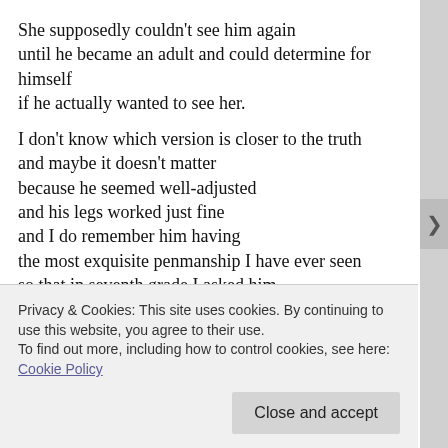She supposedly couldn't see him again
until he became an adult and could determine for himself
if he actually wanted to see her.

I don't know which version is closer to the truth
and maybe it doesn't matter
because he seemed well-adjusted
and his legs worked just fine
and I do remember him having
the most exquisite penmanship I have ever seen
so that in seventh grade I asked him
to sign my name into all my textbooks
Privacy & Cookies: This site uses cookies. By continuing to use this website, you agree to their use.
To find out more, including how to control cookies, see here: Cookie Policy